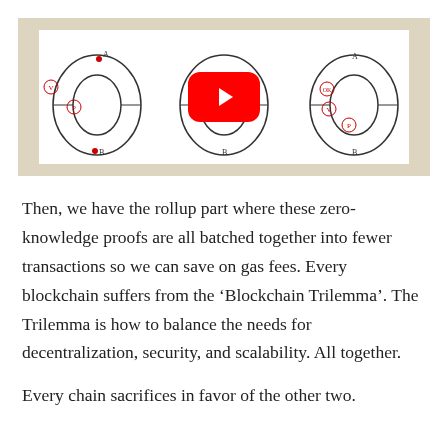[Figure (screenshot): A YouTube video thumbnail with a red play button overlay, showing three ring/torus diagrams (labeled with letters A, V, P, B, BI, OK) on a white background inside a beige/tan container.]
Then, we have the rollup part where these zero-knowledge proofs are all batched together into fewer transactions so we can save on gas fees. Every blockchain suffers from the ‘Blockchain Trilemma’. The Trilemma is how to balance the needs for decentralization, security, and scalability. All together.
Every chain sacrifices in favor of the other two.